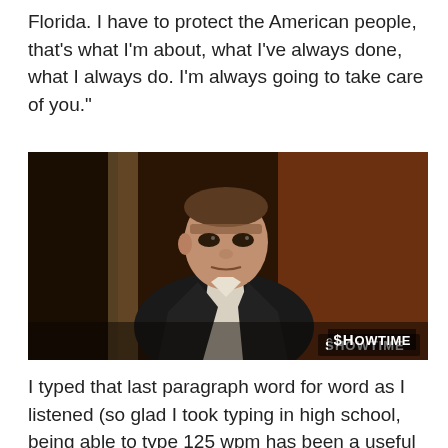Florida. I have to protect the American people, that's what I'm about, what I've always done, what I always do. I'm always going to take care of you."
[Figure (photo): A man in a dark suit with an open-collar white shirt standing indoors, looking seriously at the camera. A SHOWTIME watermark is in the lower right corner.]
I typed that last paragraph word for word as I listened (so glad I took typing in high school, being able to type 125 wpm has been a useful skill). I can't help wondering if that last line "I'm always going to take care of you" was